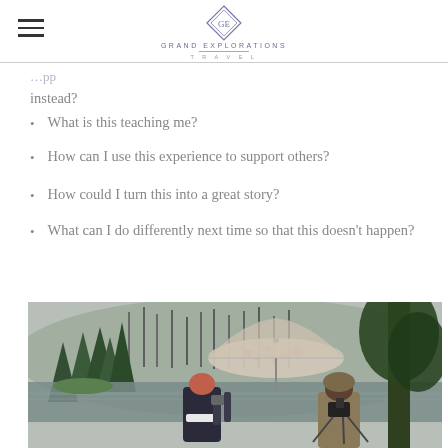Grand Explorations Travel (logo)
instead?
What is this teaching me?
How can I use this experience to support others?
How could I turn this into a great story?
What can I do differently next time so that this doesn't happen?
[Figure (photo): Two people photographing a misty lake scene with tall pine trees in a forest. One person holds a floral umbrella and is wearing a dark jacket; the other wears a tan jacket and stands near a camera on a tripod. The scene is overcast and rainy.]